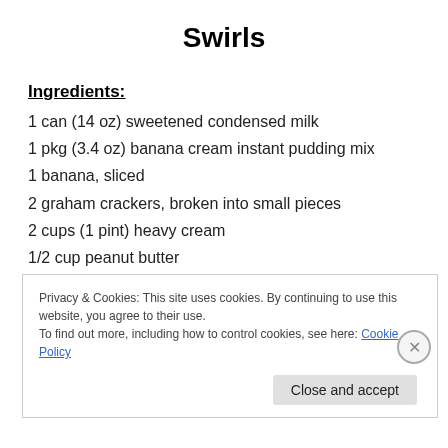Swirls
Ingredients:
1 can (14 oz) sweetened condensed milk
1 pkg (3.4 oz) banana cream instant pudding mix
1 banana, sliced
2 graham crackers, broken into small pieces
2 cups (1 pint) heavy cream
1/2 cup peanut butter
Privacy & Cookies: This site uses cookies. By continuing to use this website, you agree to their use. To find out more, including how to control cookies, see here: Cookie Policy